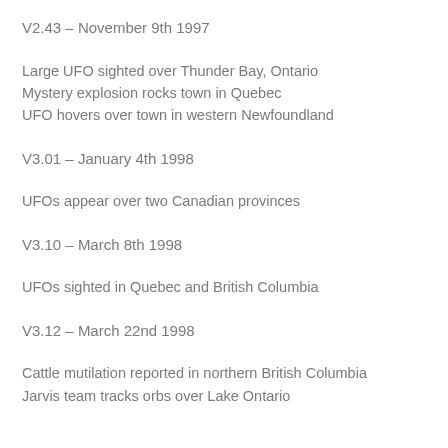V2.43 – November 9th 1997
Large UFO sighted over Thunder Bay, Ontario
Mystery explosion rocks town in Quebec
UFO hovers over town in western Newfoundland
V3.01 – January 4th 1998
UFOs appear over two Canadian provinces
V3.10 – March 8th 1998
UFOs sighted in Quebec and British Columbia
V3.12 – March 22nd 1998
Cattle mutilation reported in northern British Columbia
Jarvis team tracks orbs over Lake Ontario